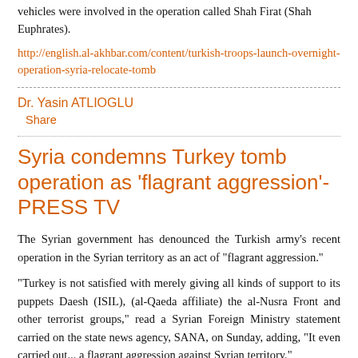vehicles were involved in the operation called Shah Firat (Shah Euphrates).
http://english.al-akhbar.com/content/turkish-troops-launch-overnight-operation-syria-relocate-tomb
Dr. Yasin ATLIOGLU
Share
Syria condemns Turkey tomb operation as 'flagrant aggression'- PRESS TV
The Syrian government has denounced the Turkish army's recent operation in the Syrian territory as an act of "flagrant aggression."
"Turkey is not satisfied with merely giving all kinds of support to its puppets Daesh (ISIL), (al-Qaeda affiliate) the al-Nusra Front and other terrorist groups," read a Syrian Foreign Ministry statement carried on the state news agency, SANA, on Sunday, adding, "It even carried out... a flagrant aggression against Syrian territory."